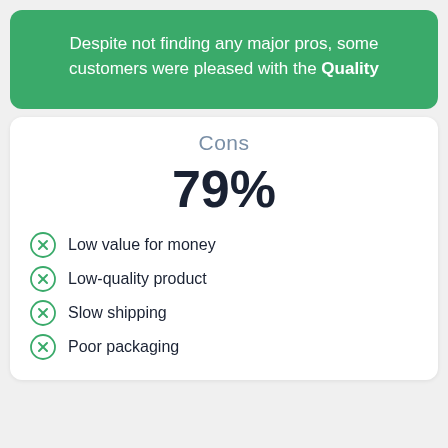Despite not finding any major pros, some customers were pleased with the Quality
Cons
79%
Low value for money
Low-quality product
Slow shipping
Poor packaging